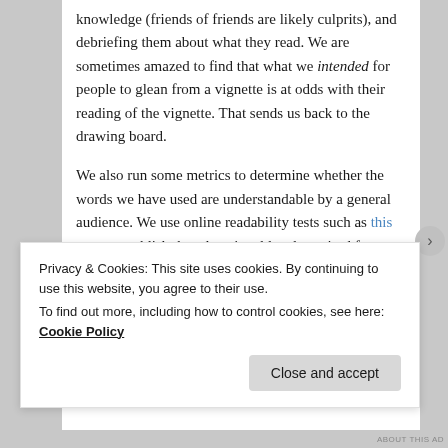knowledge (friends of friends are likely culprits), and debriefing them about what they read. We are sometimes amazed to find that what we intended for people to glean from a vignette is at odds with their reading of the vignette. That sends us back to the drawing board.

We also run some metrics to determine whether the words we have used are understandable by a general audience. We use online readability tests such as this one to establish the educational level required for understanding the vignette; our goal is that no more than a high school education is required. Finally, we launch the survey, recruiting respondents from amongst the thousands of people who have signed up on Amazon's Mechanical Turk
Privacy & Cookies: This site uses cookies. By continuing to use this website, you agree to their use.
To find out more, including how to control cookies, see here: Cookie Policy